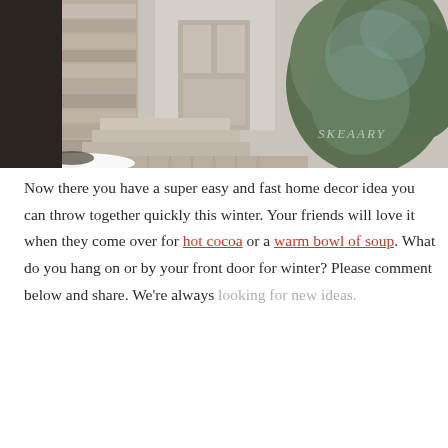[Figure (photo): Exterior photo of a home's front entrance with stone columns, paved steps with patterned brick, snow on the ground, and a large evergreen shrub on the right. A watermark reads 'SKEAARY' in the lower right.]
Now there you have a super easy and fast home decor idea you can throw together quickly this winter. Your friends will love it when they come over for hot cocoa or a warm bowl of soup. What do you hang on or by your front door for winter? Please comment below and share. We're always looking for new ideas.